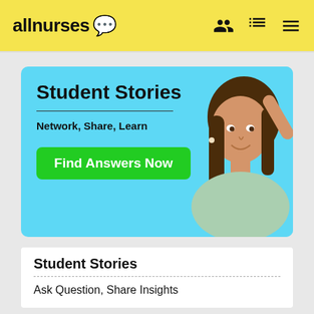allnurses
[Figure (illustration): allnurses Student Stories banner ad with a young woman on blue background. Text reads 'Student Stories', 'Network, Share, Learn', and a green button 'Find Answers Now'.]
Student Stories
Ask Question, Share Insights